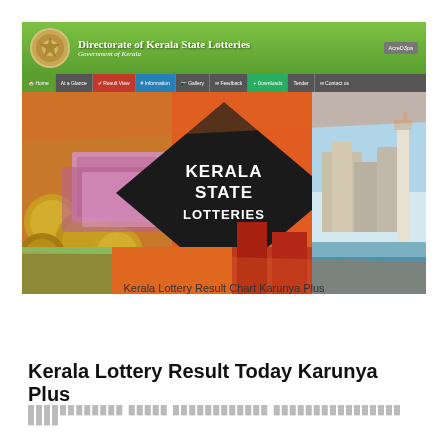[Figure (screenshot): Kerala State Lotteries website header showing logo, title 'Directorate of Kerala State Lotteries, Government of Kerala', navigation bar, and hero banner with Kerala State Lotteries branding over images of coins, currency notes, and Kerala scenery.]
Kerala Lottery Result Chart Karunya Plus
Kerala Lottery Result Today Karunya Plus
കേരളക്കുറി ഫലം കർഷകരോഗ്യ കർഷകരോഗ്യ ഫലം